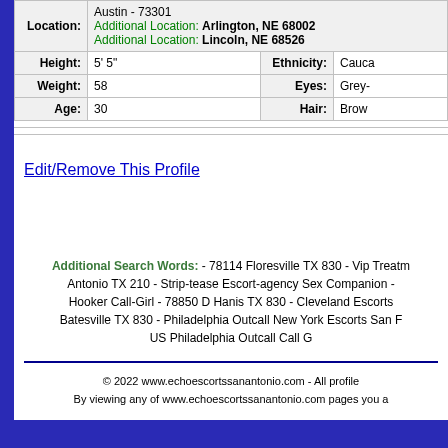| Location: | Austin - 73301
Additional Location: Arlington, NE 68002
Additional Location: Lincoln, NE 68526 |
| Height: | 5' 5" | Ethnicity: | Cauca... |
| Weight: | 58 | Eyes: | Grey-... |
| Age: | 30 | Hair: | Brown... |
Edit/Remove This Profile
Additional Search Words: - 78114 Floresville TX 830 - Vip Treatm... Antonio TX 210 - Strip-tease Escort-agency Sex Companion - ... Hooker Call-Girl - 78850 D Hanis TX 830 - Cleveland Escorts... Batesville TX 830 - Philadelphia Outcall New York Escorts San F... US Philadelphia Outcall Call G...
© 2022 www.echoescortssanantonio.com - All profile... By viewing any of www.echoescortssanantonio.com pages you a...